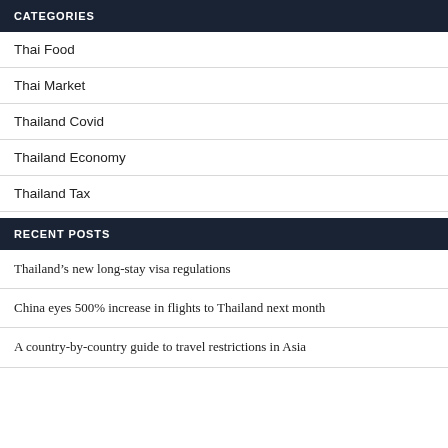CATEGORIES
Thai Food
Thai Market
Thailand Covid
Thailand Economy
Thailand Tax
RECENT POSTS
Thailand’s new long-stay visa regulations
China eyes 500% increase in flights to Thailand next month
A country-by-country guide to travel restrictions in Asia